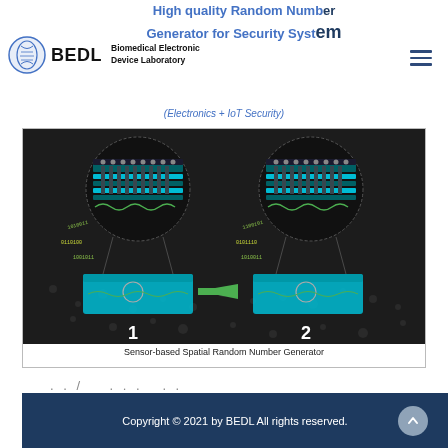High quality Random Number Generator for Security System
BEDL Biomedical Electronic Device Laboratory
(Electronics + IoT Security)
[Figure (illustration): Sensor-based Spatial Random Number Generator diagram showing two sensor nodes labeled 1 and 2 on a dark substrate, with zoomed circular insets showing layered sensor structures and binary data streams (1s and 0s), connected by a green arrow indicating data flow.]
Sensor-based Spatial Random Number Generator
../..
Copyright © 2021 by BEDL All rights reserved.